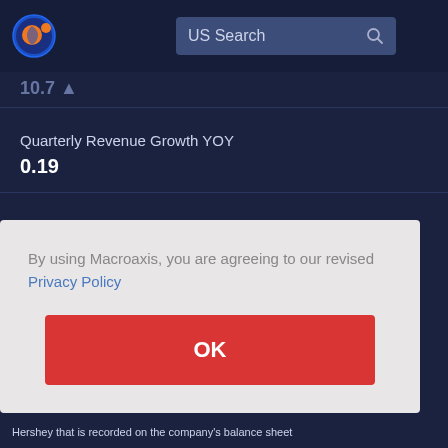US Search
Quarterly Revenue Growth YOY
0.19
Return On Assets
0.14
By using Macroaxis, you are agreeing to our revised Privacy Policy
OK
Hershey that is recorded on the company's balance sheet